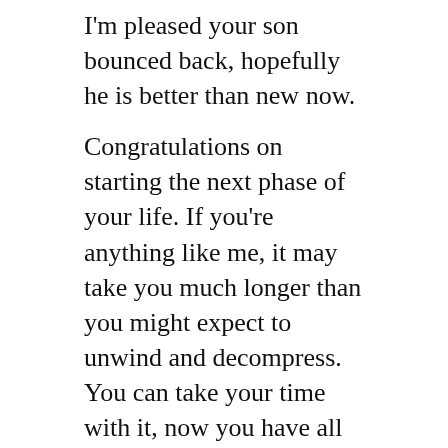I'm pleased your son bounced back, hopefully he is better than new now.
Congratulations on starting the next phase of your life. If you're anything like me, it may take you much longer than you might expect to unwind and decompress. You can take your time with it, now you have all the time in the world!
★ Like
Reply
firethe9to5